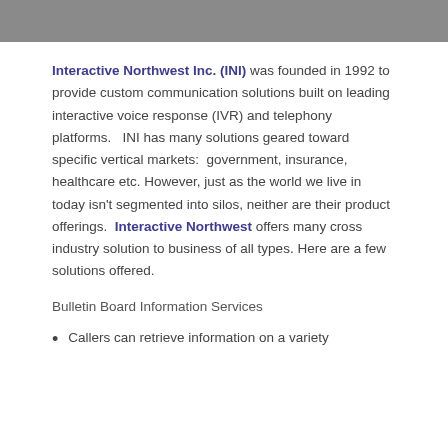Interactive Northwest Inc. (INI) was founded in 1992 to provide custom communication solutions built on leading interactive voice response (IVR) and telephony platforms.   INI has many solutions geared toward specific vertical markets:  government, insurance, healthcare etc.  However, just as the world we live in today isn't segmented into silos, neither are their product offerings.  Interactive Northwest offers many cross industry solution to business of all types.  Here are a few solutions offered.
Bulletin Board Information Services
Callers can retrieve information on a variety